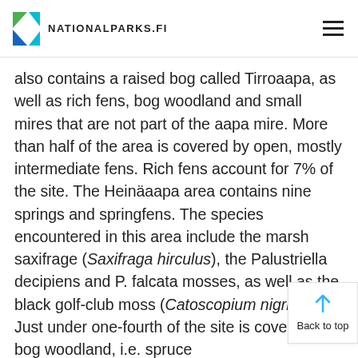NATIONALPARKS.FI
also contains a raised bog called Tirroaapa, as well as rich fens, bog woodland and small mires that are not part of the aapa mire. More than half of the area is covered by open, mostly intermediate fens. Rich fens account for 7% of the site. The Heinäaapa area contains nine springs and springfens. The species encountered in this area include the marsh saxifrage (Saxifraga hirculus), the Palustriella decipiens and P. falcata mosses, as well as the black golf-club moss (Catoscopium nigritum). Just under one-fourth of the site is covered by bog woodland, i.e. spruce